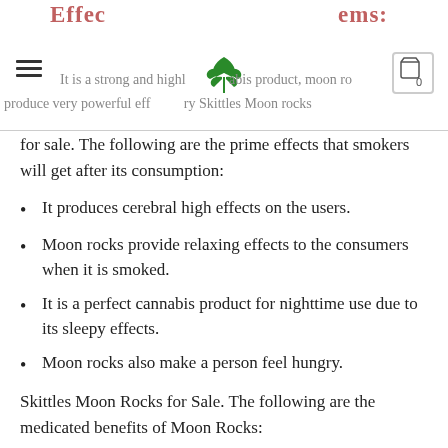Effec... ...ems: [navigation bar with menu icon, cannabis leaf logo, cart icon] It is a strong and highl... ...abis product, moon ro... produce very powerful eff... ...ry Skittles Moon rocks
for sale. The following are the prime effects that smokers will get after its consumption:
It produces cerebral high effects on the users.
Moon rocks provide relaxing effects to the consumers when it is smoked.
It is a perfect cannabis product for nighttime use due to its sleepy effects.
Moon rocks also make a person feel hungry.
Skittles Moon Rocks for Sale. The following are the medicated benefits of Moon Rocks:
It is used medically for the treatment of anxiety, stress, and depression. san francisco dispensary.